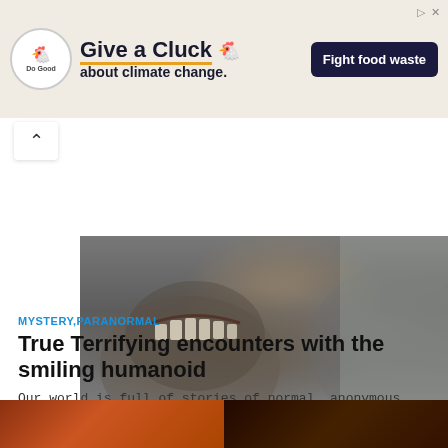[Figure (other): Advertisement banner: 'Do Good' chicken logo, headline 'Give a Cluck about climate change.' with orange underline, chicken icon, and 'Fight food waste' button on dark navy background]
[Figure (photo): Dark close-up photo of a grinning humanoid creature with visible teeth, gray textured skin, smiling menacingly]
MYSTERY,PARANORMAL
True Terrifying encounters with the smiling humanoid
Our world is full of stories of normal, anonymous people, who while living their daily lives, have an...
Ansh Srivastava
November 20, 2020
[Figure (photo): Dark partially visible image strip at the bottom showing fiery reddish-orange glow on the left half and very dark brown/black on the right half]